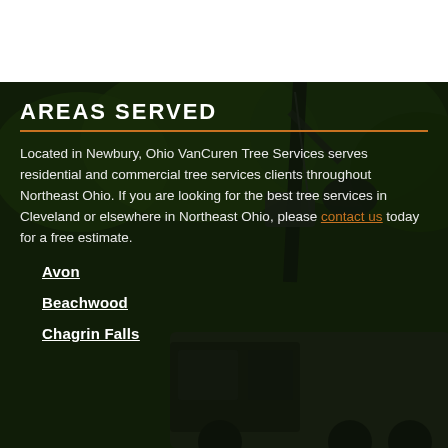AREAS SERVED
Located in Newbury, Ohio VanCuren Tree Services serves residential and commercial tree services clients throughout Northeast Ohio. If you are looking for the best tree services in Cleveland or elsewhere in Northeast Ohio, please contact us today for a free estimate.
Avon
Beachwood
Chagrin Falls